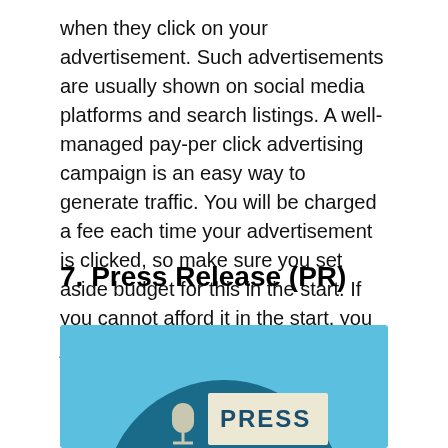when they click on your advertisement. Such advertisements are usually shown on social media platforms and search listings. A well-managed pay-per click advertising campaign is an easy way to generate traffic. You will be charged a fee each time your advertisement is clicked, so make sure you set aside budget for this in the start. If you cannot afford it in the start, you just have to rely on SEO.
7. Press Release (PR)
[Figure (illustration): Light blue background with a dark teal circle. Inside the circle is a beige/cream colored press release box with the word PRESS in bold dark blue letters, and a microphone icon to the left of the box.]